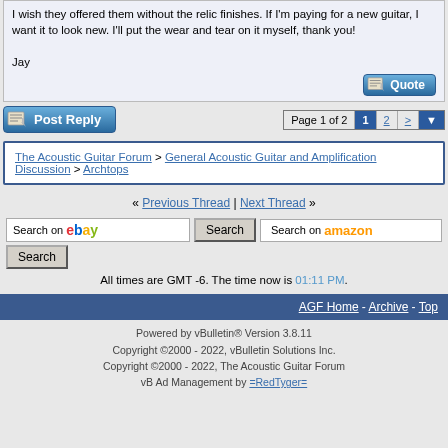I wish they offered them without the relic finishes. If I'm paying for a new guitar, I want it to look new. I'll put the wear and tear on it myself, thank you!

Jay
Page 1 of 2  1  2  >
The Acoustic Guitar Forum > General Acoustic Guitar and Amplification Discussion > Archtops
« Previous Thread | Next Thread »
All times are GMT -6. The time now is 01:11 PM.
AGF Home - Archive - Top
Powered by vBulletin® Version 3.8.11
Copyright ©2000 - 2022, vBulletin Solutions Inc.
Copyright ©2000 - 2022, The Acoustic Guitar Forum
vB Ad Management by =RedTyger=